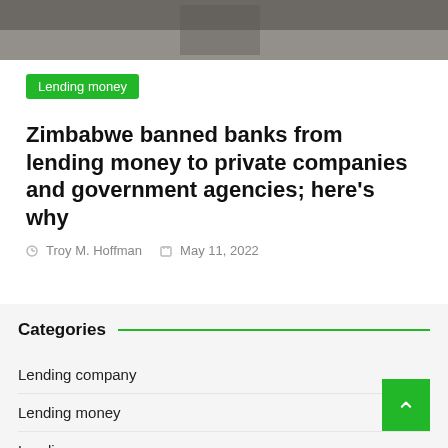[Figure (photo): Top portion of an article page showing a cropped photo of people, partially visible at the top of the page.]
Lending money
Zimbabwe banned banks from lending money to private companies and government agencies; here's why
Troy M. Hoffman   May 11, 2022
Categories
Lending company
Lending money